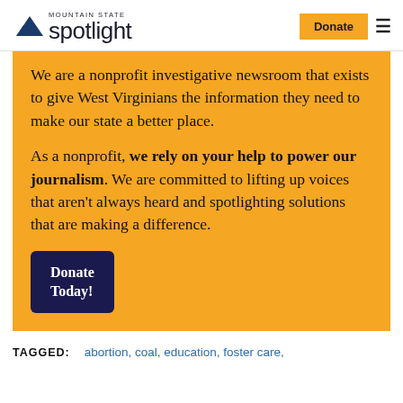Mountain State Spotlight — Donate | Menu
We are a nonprofit investigative newsroom that exists to give West Virginians the information they need to make our state a better place.
As a nonprofit, we rely on your help to power our journalism. We are committed to lifting up voices that aren't always heard and spotlighting solutions that are making a difference.
Donate Today!
TAGGED: abortion, coal, education, foster care,